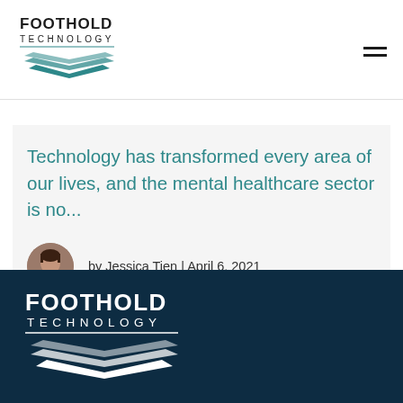[Figure (logo): Foothold Technology logo — text 'FOOTHOLD TECHNOLOGY' with teal layered chevron/wave icon below, dark on white background]
Technology has transformed every area of our lives, and the mental healthcare sector is no...
by Jessica Tien | April 6, 2021
[Figure (logo): Foothold Technology logo — text 'FOOTHOLD TECHNOLOGY' with white layered chevron/wave icon below, white on dark navy background]